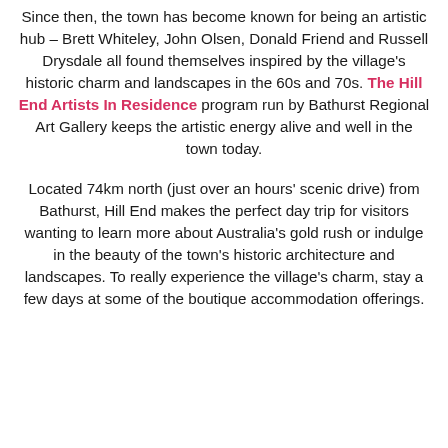Since then, the town has become known for being an artistic hub – Brett Whiteley, John Olsen, Donald Friend and Russell Drysdale all found themselves inspired by the village's historic charm and landscapes in the 60s and 70s. The Hill End Artists In Residence program run by Bathurst Regional Art Gallery keeps the artistic energy alive and well in the town today.
Located 74km north (just over an hours' scenic drive) from Bathurst, Hill End makes the perfect day trip for visitors wanting to learn more about Australia's gold rush or indulge in the beauty of the town's historic architecture and landscapes. To really experience the village's charm, stay a few days at some of the boutique accommodation offerings.